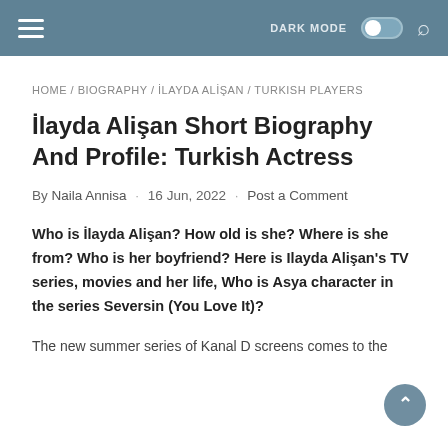DARK MODE [toggle] [search]
HOME / BIOGRAPHY / İLAYDA ALİŞAN / TURKISH PLAYERS
İlayda Alişan Short Biography And Profile: Turkish Actress
By Naila Annisa · 16 Jun, 2022 · Post a Comment
Who is İlayda Alişan? How old is she? Where is she from? Who is her boyfriend? Here is Ilayda Alişan's TV series, movies and her life, Who is Asya character in the series Seversin (You Love It)?
The new summer series of Kanal D screens comes to the